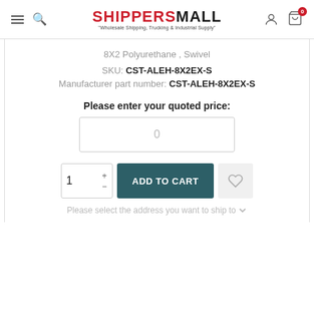SHIPPERS MALL - Wholesale Shipping, Trucking & Industrial Supply
8X2 Polyurethane , Swivel
SKU: CST-ALEH-8X2EX-S
Manufacturer part number: CST-ALEH-8X2EX-S
Please enter your quoted price:
0
1
ADD TO CART
Please select the address you want to ship to